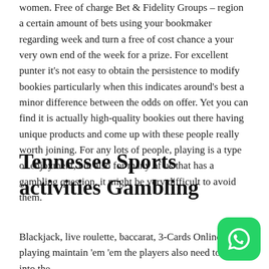women. Free of charge Bet & Fidelity Groups – region a certain amount of bets using your bookmaker regarding week and turn a free of cost chance a your very own end of the week for a prize. For excellent punter it's not easy to obtain the persistence to modify bookies particularly when this indicates around's best a minor difference between the odds on offer. Yet you can find it is actually high-quality bookies out there having unique products and come up with these people really worth joining. For any lots of people, playing is a type of enjoyment, but also for many of us that has a gambling question, it might be very difficult to avoid them.
Tennessee Sports activities Gambling
Blackjack, live roulette, baccarat, 3-Cards Online poker, playing maintain 'em 'em the players also need to look into the